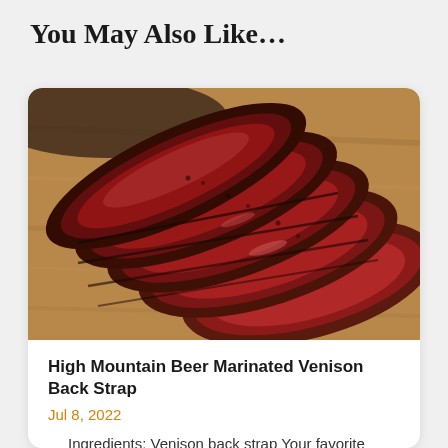You May Also Like…
[Figure (photo): Close-up photo of sliced cooked venison backstrap on a wooden cutting board, showing pink-red interior with dark crust]
High Mountain Beer Marinated Venison Back Strap
Jul 8, 2022
Ingredients: Venison back strap Your favorite golden ale (we like Beale's Gold) Hi Mountain